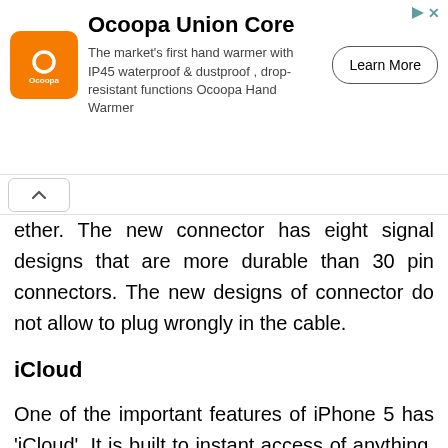[Figure (other): Ocoopa Union Core advertisement banner with orange logo, product description, and Learn More button]
ether. The new connector has eight signal designs that are more durable than 30 pin connectors. The new designs of connector do not allow to plug wrongly in the cable.
iCloud
One of the important features of iPhone 5 has 'iCloud'. It is built to instant access of anything. Browse the web page on one's device and pick up